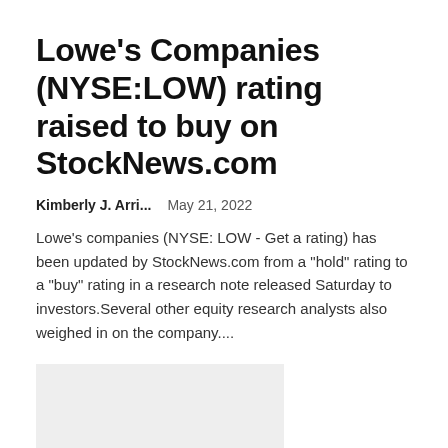Lowe's Companies (NYSE:LOW) rating raised to buy on StockNews.com
Kimberly J. Arri...   May 21, 2022
Lowe's companies (NYSE: LOW - Get a rating) has been updated by StockNews.com from a "hold" rating to a "buy" rating in a research note released Saturday to investors.Several other equity research analysts also weighed in on the company....
[Figure (other): Light gray placeholder image box]